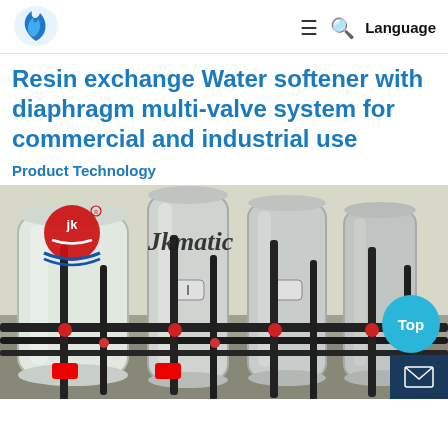JKmatic logo | menu | search | Language
Resin exchange Water softener with diaphragm multi-valve system for commercial and industrial use
Product Technology
[Figure (photo): Industrial water softener system with multiple large stainless steel pressure vessels connected by black pipes and valves in a factory/facility setting, branded with JKmatic logo. 'Top' and mail icons overlaid in bottom-right corner.]